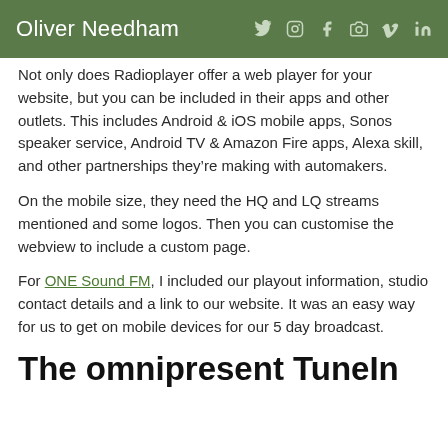Oliver Needham
Not only does Radioplayer offer a web player for your website, but you can be included in their apps and other outlets. This includes Android & iOS mobile apps, Sonos speaker service, Android TV & Amazon Fire apps, Alexa skill, and other partnerships they're making with automakers.
On the mobile size, they need the HQ and LQ streams mentioned and some logos. Then you can customise the webview to include a custom page.
For ONE Sound FM, I included our playout information, studio contact details and a link to our website. It was an easy way for us to get on mobile devices for our 5 day broadcast.
The omnipresent TuneIn